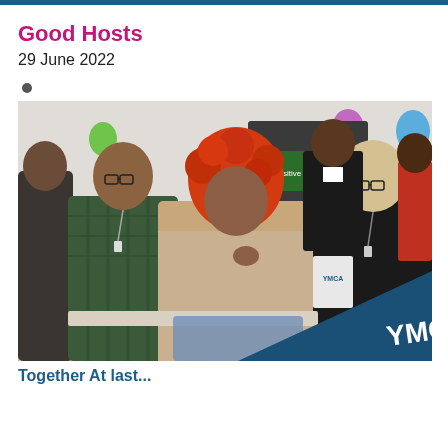Good Hosts
29 June 2022
[Figure (photo): Group of people seated at tables at an indoor event with balloons. In the foreground: a young man with glasses and a checked shirt, a woman with bright red curly hair wearing a beige top, and an older blonde woman with glasses wearing black. In the background, more attendees. Bottom right corner shows a dark blue triangle with white YMCA logo text.]
Together At last...